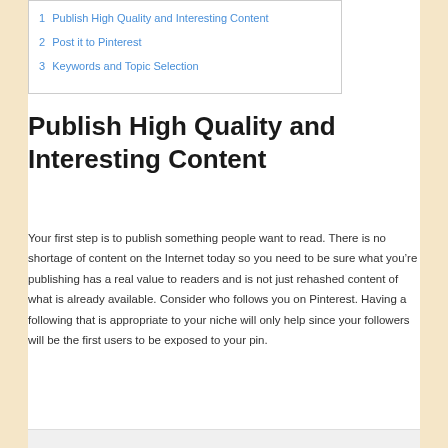1  Publish High Quality and Interesting Content
2  Post it to Pinterest
3  Keywords and Topic Selection
Publish High Quality and Interesting Content
Your first step is to publish something people want to read. There is no shortage of content on the Internet today so you need to be sure what you’re publishing has a real value to readers and is not just rehashed content of what is already available. Consider who follows you on Pinterest. Having a following that is appropriate to your niche will only help since your followers will be the first users to be exposed to your pin.